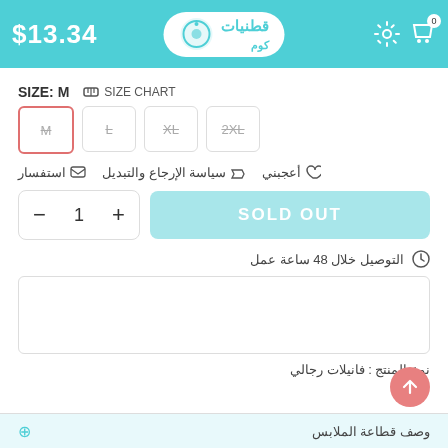$13.34 — قطنيات كوم — header with settings and cart icons
SIZE: M
SIZE CHART
M (selected)
L
XL
2XL
أعجبني   سياسة الإرجاع والتبديل   استفسار
SOLD OUT
التوصيل خلال 48 ساعة عمل
[Figure (photo): Empty white image placeholder box]
نوع المنتج : فانيلات رجالي
وصف قطاعة الملابس